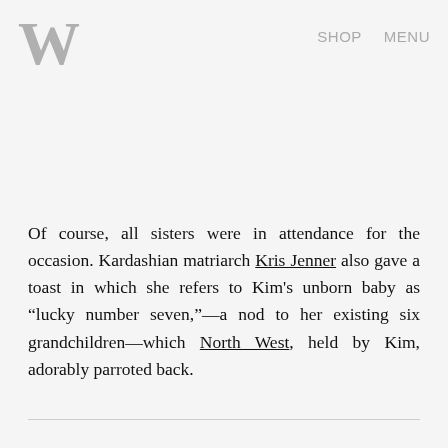W  SHOP  MENU
Of course, all sisters were in attendance for the occasion. Kardashian matriarch Kris Jenner also gave a toast in which she refers to Kim's unborn baby as “lucky number seven,”—a nod to her existing six grandchildren—which North West, held by Kim, adorably parroted back.